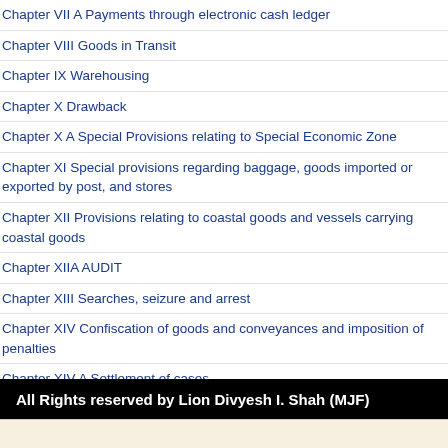Chapter VII A Payments through electronic cash ledger
Chapter VIII Goods in Transit
Chapter IX Warehousing
Chapter X Drawback
Chapter X A Special Provisions relating to Special Economic Zone
Chapter XI Special provisions regarding baggage, goods imported or exported by post, and stores
Chapter XII Provisions relating to coastal goods and vessels carrying coastal goods
Chapter XIIA AUDIT
Chapter XIII Searches, seizure and arrest
Chapter XIV Confiscation of goods and conveyances and imposition of penalties
Chapter XIV A Settlement of cases
Chapter XV Appeals and Revision
Chapter XVI Offences and Prosecutions
Chapter XVII Miscellaneous
All Rights reserved by Lion Divyesh I. Shah (MJF)